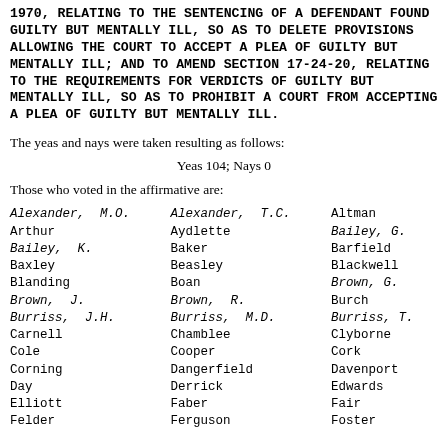1970, RELATING TO THE SENTENCING OF A DEFENDANT FOUND GUILTY BUT MENTALLY ILL, SO AS TO DELETE PROVISIONS ALLOWING THE COURT TO ACCEPT A PLEA OF GUILTY BUT MENTALLY ILL; AND TO AMEND SECTION 17-24-20, RELATING TO THE REQUIREMENTS FOR VERDICTS OF GUILTY BUT MENTALLY ILL, SO AS TO PROHIBIT A COURT FROM ACCEPTING A PLEA OF GUILTY BUT MENTALLY ILL.
The yeas and nays were taken resulting as follows:
Yeas 104; Nays 0
Those who voted in the affirmative are:
Alexander, M.O.  Alexander, T.C.  Altman
Arthur  Aydlette  Bailey, G.
Bailey, K.  Baker  Barfield
Baxley  Beasley  Blackwell
Blanding  Boan  Brown, G.
Brown, J.  Brown, R.  Burch
Burriss, J.H.  Burriss, M.D.  Burriss, T.
Carnell  Chamblee  Clyborne
Cole  Cooper  Cork
Corning  Dangerfield  Davenport
Day  Derrick  Edwards
Elliott  Faber  Fair
Felder  Ferguson  Foster